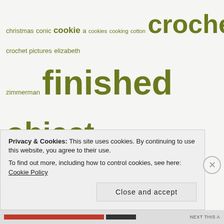[Figure (other): A tag cloud with knitting/crafting related tags in olive/green color, varying font sizes indicating frequency. Tags include: christmas, conic, cookie, a, cookies, cooking, cotton, crochet, crochet pictures, elizabeth zimmerman, finished, object, finished objects, fo, food, friends, fwip, hkf, house, husband, hybrid, interweave knits, kids, knit. sock., love, knitters, knitting, knitting mistakes, knitting pictures, knitty, mason-dixon knitting, niels, norah gaughan, panda cotton, patterns, pie, ravelry, reading, recipes, rogue, rowan, sewing, shopping, silk, sock candy, socks, sock yarn, stash, stefan, stitches, stitches west, sugar n cream, tapestry cowl, (partial word visible)]
Privacy & Cookies: This site uses cookies. By continuing to use this website, you agree to their use. To find out more, including how to control cookies, see here: Cookie Policy
Close and accept